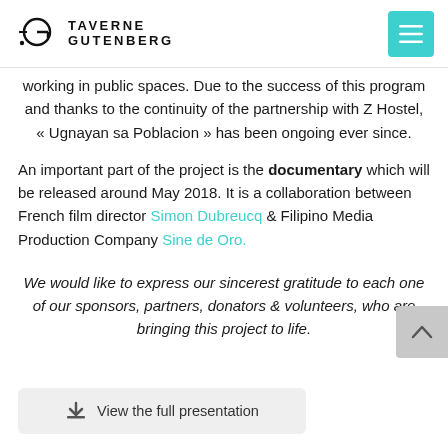TAVERNE GUTENBERG
working in public spaces. Due to the success of this program and thanks to the continuity of the partnership with Z Hostel, « Ugnayan sa Poblacion » has been ongoing ever since.
An important part of the project is the documentary which will be released around May 2018. It is a collaboration between French film director Simon Dubreucq & Filipino Media Production Company Sine de Oro.
We would like to express our sincerest gratitude to each one of our sponsors, partners, donators & volunteers, who are bringing this project to life.
View the full presentation